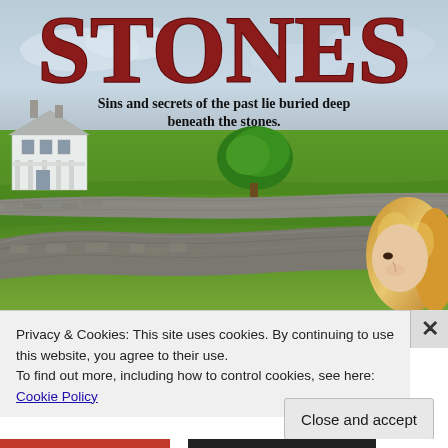[Figure (illustration): Book cover image for 'STONES' showing a large white colonial house on a green field with curved stone walls in the foreground, a round green tree in the background, and a blonde woman visible from the shoulders up at the right side behind the stone wall. The title 'STONES' appears in large red serif letters at the top, with the subtitle 'Sins and secrets of the past lie buried deep beneath the stones.' below it.]
Privacy & Cookies: This site uses cookies. By continuing to use this website, you agree to their use.
To find out more, including how to control cookies, see here: Cookie Policy
Close and accept